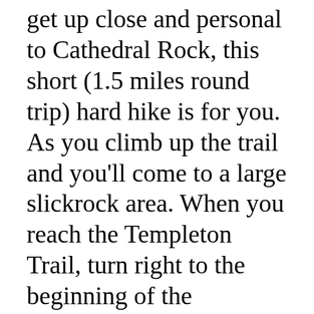get up close and personal to Cathedral Rock, this short (1.5 miles round trip) hard hike is for you. As you climb up the trail and you'll come to a large slickrock area. When you reach the Templeton Trail, turn right to the beginning of the Cathedral Rock Trail on your left. The trail is well marked with cairns and is very steep -- good hiking boots required!